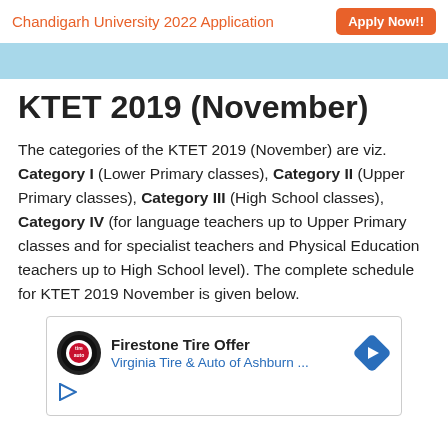Chandigarh University 2022 Application  Apply Now!!
KTET 2019 (November)
The categories of the KTET 2019 (November) are viz. Category I (Lower Primary classes), Category II (Upper Primary classes), Category III (High School classes), Category IV (for language teachers up to Upper Primary classes and for specialist teachers and Physical Education teachers up to High School level). The complete schedule for KTET 2019 November is given below.
[Figure (other): Advertisement box for Firestone Tire Offer - Virginia Tire & Auto of Ashburn]